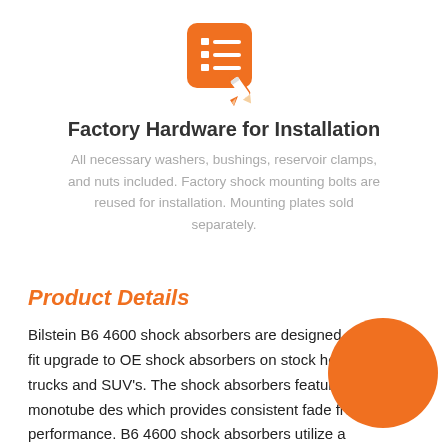[Figure (illustration): Orange icon of a checklist/notepad with a pencil]
Factory Hardware for Installation
All necessary washers, bushings, reservoir clamps, and nuts included. Factory shock mounting bolts are reused for installation. Mounting plates sold separately.
Product Details
Bilstein B6 4600 shock absorbers are designed as a direct fit upgrade to OE shock absorbers on stock height light trucks and SUV's. The shock absorbers feature a monotube des which provides consistent fade free performance. B6 4600 shock absorbers utilize a